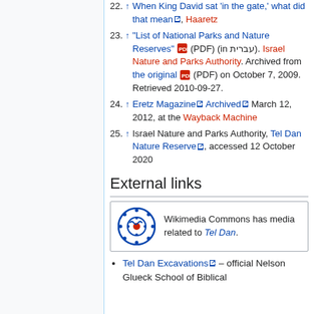22. ↑ When King David sat 'in the gate,' what did that mean, Haaretz
23. ↑ "List of National Parks and Nature Reserves" (PDF) (in עברית). Israel Nature and Parks Authority. Archived from the original (PDF) on October 7, 2009. Retrieved 2010-09-27.
24. ↑ Eretz Magazine Archived March 12, 2012, at the Wayback Machine
25. ↑ Israel Nature and Parks Authority, Tel Dan Nature Reserve, accessed 12 October 2020
External links
[Figure (logo): Wikimedia Commons logo - blue circular icon with red center dot]
Wikimedia Commons has media related to Tel Dan.
Tel Dan Excavations – official Nelson Glueck School of Biblical